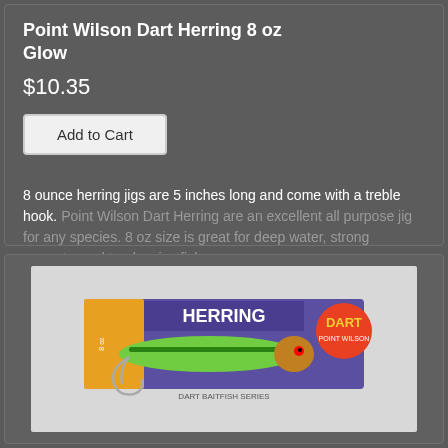Point Wilson Dart Herring 8 oz Glow
$10.35
Add to Cart
8 ounce herring jigs are 5 inches long and come with a treble hook. Point Wilson Dart Herring are an excellent all purpose jig for any species. 8 oz size is great for deep water, strong currents, and trophy size fish.
[Figure (photo): Photo of a Point Wilson Dart Herring fishing lure in packaging. The lure is green and yellow colored (glow pattern), approximately 5 inches long, mounted on a purple card that reads HERRING, DART, POINT WILSON, DART BAITFISH SERIES.]